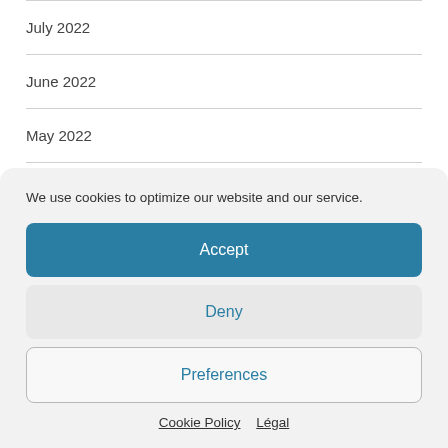July 2022
June 2022
May 2022
April 2022
March 2022
We use cookies to optimize our website and our service.
Accept
Deny
Preferences
Cookie Policy   Légal